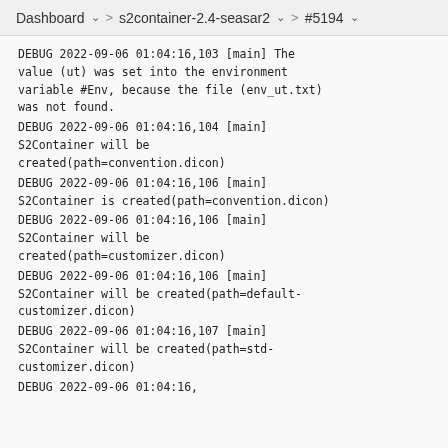Dashboard > s2container-2.4-seasar2 > #5194
DEBUG 2022-09-06 01:04:16,103 [main] The value (ut) was set into the environment variable #Env, because the file (env_ut.txt) was not found.
DEBUG 2022-09-06 01:04:16,104 [main] S2Container will be created(path=convention.dicon)
DEBUG 2022-09-06 01:04:16,106 [main] S2Container is created(path=convention.dicon)
DEBUG 2022-09-06 01:04:16,106 [main] S2Container will be created(path=customizer.dicon)
DEBUG 2022-09-06 01:04:16,106 [main] S2Container will be created(path=default-customizer.dicon)
DEBUG 2022-09-06 01:04:16,107 [main] S2Container will be created(path=std-customizer.dicon)
DEBUG 2022-09-06 01:04:16,1... [main] ...